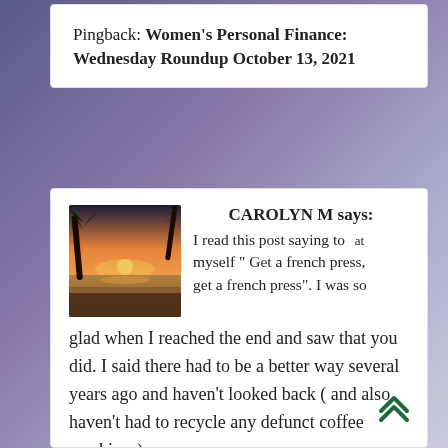Pingback: Women's Personal Finance: Wednesday Roundup October 13, 2021
CAROLYN M says: I read this post saying to myself " Get a french press, get a french press". I was so glad when I reached the end and saw that you did. I said there had to be a better way several years ago and haven't looked back ( and also haven't had to recycle any defunct coffee machines)